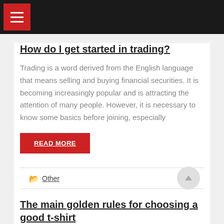Navigation menu header bar
How do I get started in trading?
Trading is a word derived from the English language that means selling and buying financial securities. It is becoming increasingly popular and is attracting the attention of many people. However, it is necessary to know some basics before joining, especially
READ MORE
Other
The main golden rules for choosing a good t-shirt